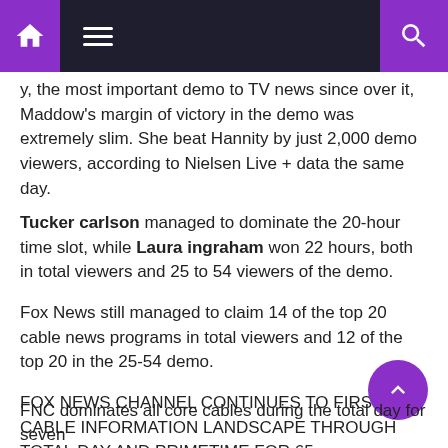[Navigation bar with home, menu, and search icons]
…y, the most important demo to TV news since over it, Maddow's margin of victory in the demo was extremely slim. She beat Hannity by just 2,000 demo viewers, according to Nielsen Live + data the same day.
Tucker carlson managed to dominate the 20-hour time slot, while Laura ingraham won 22 hours, both in total viewers and 25 to 54 viewers of the demo.
Fox News still managed to claim 14 of the top 20 cable news programs in total viewers and 12 of the top 20 in the 25-54 demo.
FOX NEWS CHANNEL CONTINUES TO FIRST CABLE INFORMATION LANDSCAPE THROUGH TOTAL DAY AND PRIMETIME FOR 65 CONSECUTIVE QUARTERS
FNC dominates all core cables during the total day for seven…